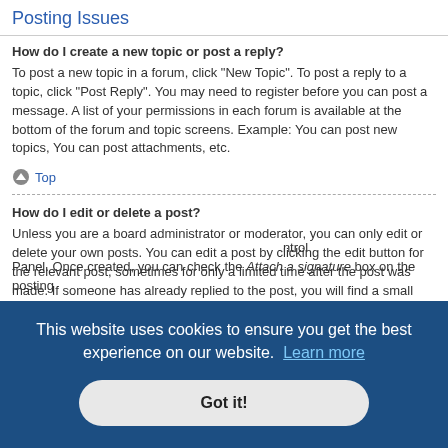Posting Issues
How do I create a new topic or post a reply?
To post a new topic in a forum, click "New Topic". To post a reply to a topic, click "Post Reply". You may need to register before you can post a message. A list of your permissions in each forum is available at the bottom of the forum and topic screens. Example: You can post new topics, You can post attachments, etc.
↑ Top
How do I edit or delete a post?
Unless you are a board administrator or moderator, you can only edit or delete your own posts. You can edit a post by clicking the edit button for the relevant post, sometimes for only a limited time after the post was made. If someone has already replied to the post, you will find a small piece of text output below the post when you return to the topic which lists the number of times you edited it along with the date and time. This will only appear if someone has made a reply; it will not appear if a moderator or administrator edited the post, though they may leave a note as to why they've edited the post at their discretion. Please note that normal users cannot delete a post once someone has replied.
This website uses cookies to ensure you get the best experience on our website. Learn more
Got it!
...Control Panel. Once created, you can check the Attach a signature box on the posting